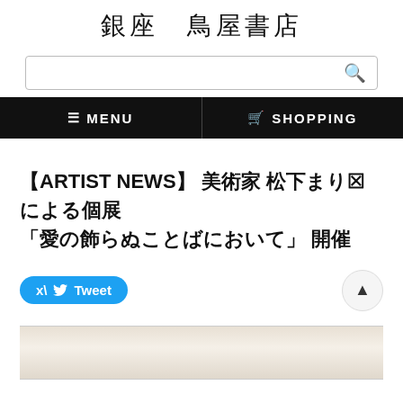銀座 鳥屋書店
[Figure (screenshot): Search bar with magnifying glass icon]
≡ MENU  🛒 SHOPPING
【ARTIST NEWS】 美術家 松下まり⊠による個展
「愛の飾らぬことばにおいて」 開催
[Figure (other): Tweet button and scroll-to-top button]
[Figure (photo): Partial image preview at bottom of page]